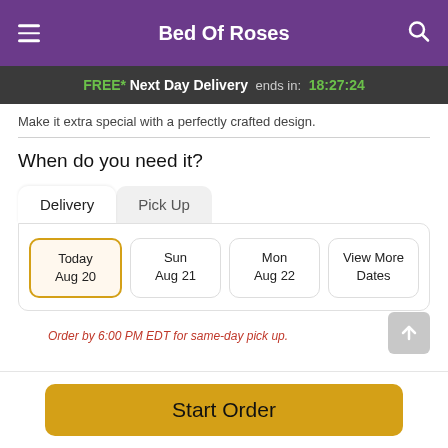Bed Of Roses
FREE* Next Day Delivery ends in: 18:27:24
Make it extra special with a perfectly crafted design.
When do you need it?
Delivery | Pick Up
Today Aug 20
Sun Aug 21
Mon Aug 22
View More Dates
Order by 6:00 PM EDT for same-day pick up.
Start Order